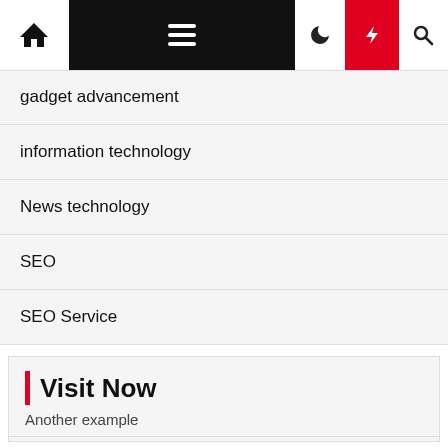Navigation bar with home icon, hamburger menu, moon icon, lightning bolt (red), and search icon
gadget advancement
information technology
News technology
SEO
SEO Service
[Figure (other): Advertisement block with a white input/content bar at the bottom]
Visit Now
Another example